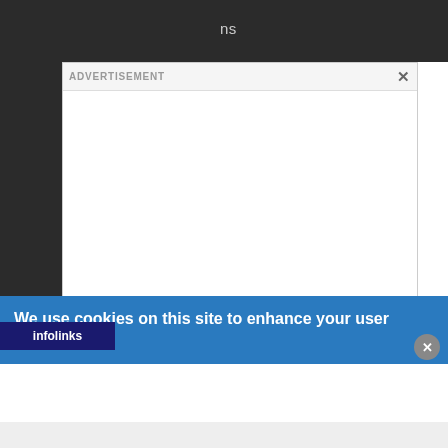ns
ADVERTISEMENT
X
We use cookies on this site to enhance your user experience
infolinks
[Figure (other): Cookie consent banner overlay with advertisement modal on a dark background website. The modal shows ADVERTISEMENT label with close button. A blue cookie notice banner reads 'We use cookies on this site to enhance your user experience' with an infolinks label and close button.]